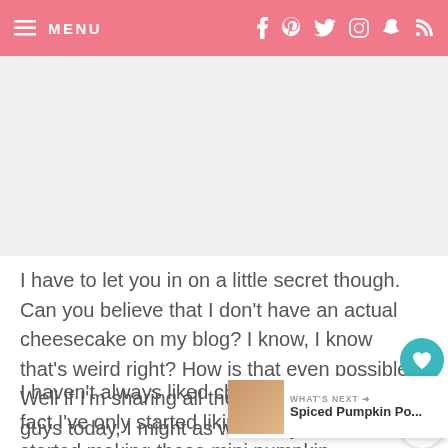≡ MENU | social icons
[Figure (other): Advertisement / blank gray area]
I have to let you in on a little secret though. Can you believe that I don't have an actual cheesecake on my blog? I know, I know that's weird right? How is that even possible. Well if I'm sharing all the secrets with you guys today, I might as well tell you this one.
I haven't always liked cheesecake. In fact I've only started liking them once I started making these mini pumpkin cheesecakes and these Mini Butterfinger C... wasn't one of those girls that liked cheesecake growing up. In fact I used to hate cream cheese. I can't image